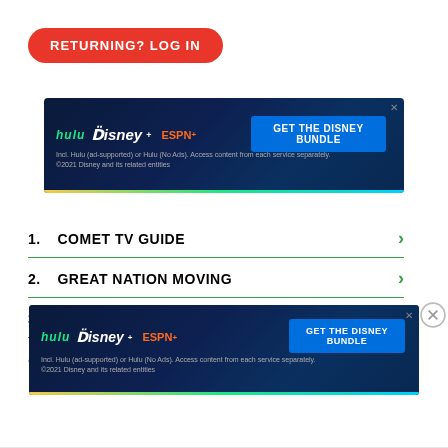RETURNING? LOG IN
[Figure (infographic): Disney Bundle advertisement banner showing Hulu, Disney+, and ESPN+ logos with 'GET THE DISNEY BUNDLE' button on dark blue background. Fine print reads: 'Incl. Hulu (ad-supported) or Hulu (No Ads). Access content from each service separately. ©2021 Disney and its related entities']
1.  COMET TV GUIDE
2.  GREAT NATION MOVING
3.  FIX MY BUSINESS LISTINGS
4.  BIG SCREEN TELEVISION
[Figure (infographic): Disney Bundle advertisement banner (bottom) showing Hulu, Disney+, and ESPN+ logos with 'GET THE DISNEY BUNDLE' button on dark blue background. Fine print reads: 'Incl. Hulu (ad-supported) or Hulu (No Ads). Access content from each service separately. ©2021 Disney and its related entities']